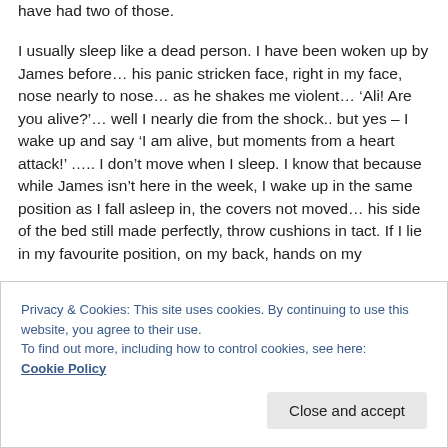have had two of those.
I usually sleep like a dead person. I have been woken up by James before… his panic stricken face, right in my face, nose nearly to nose… as he shakes me violent… ‘Ali! Are you alive?’… well I nearly die from the shock.. but yes – I wake up and say ‘I am alive, but moments from a heart attack!’ ….. I don’t move when I sleep. I know that because while James isn’t here in the week, I wake up in the same position as I fall asleep in, the covers not moved… his side of the bed still made perfectly, throw cushions in tact. If I lie in my favourite position, on my back, hands on my
Privacy & Cookies: This site uses cookies. By continuing to use this website, you agree to their use.
To find out more, including how to control cookies, see here:
Cookie Policy
Close and accept